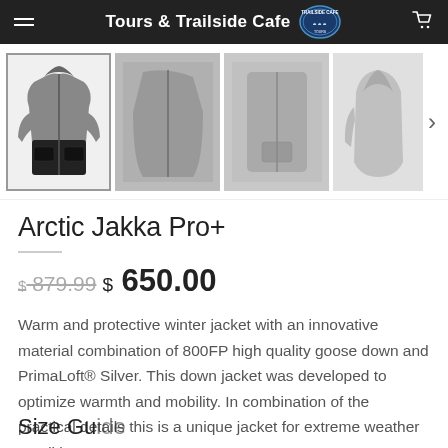Tours & Trailside Cafe
[Figure (photo): Four thumbnail images of the Arctic Jakka Pro+ winter jacket from different angles. First (selected) shows front view black/grey jacket, second shows close-up side, third shows front close-up, fourth shows full rear/side view. Navigation chevron on right.]
Arctic Jakka Pro+
$ 879.99  $ 650.00
Warm and protective winter jacket with an innovative material combination of 800FP high quality goose down and PrimaLoft® Silver. This down jacket was developed to optimize warmth and mobility. In combination of the practical details this is a unique jacket for extreme weather conditions.
Size Guide